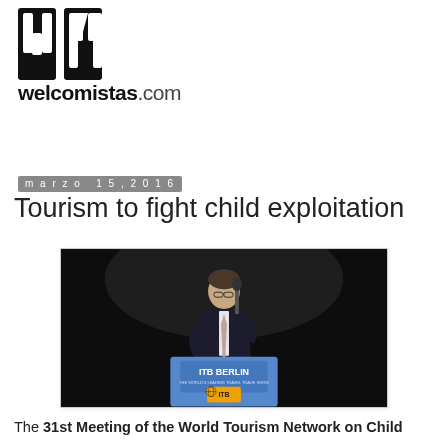[Figure (logo): welcomistas.com logo — bold stylized 'wm' letters in black square blocks above the text 'welcomistas.com']
marzo 15, 2016
Tourism to fight child exploitation
[Figure (photo): A man in a dark suit speaking at a podium labeled 'ITB BERLIN' with the ITB Berlin logo (globe icon) visible, against a dark background.]
The 31st Meeting of the World Tourism Network on Child